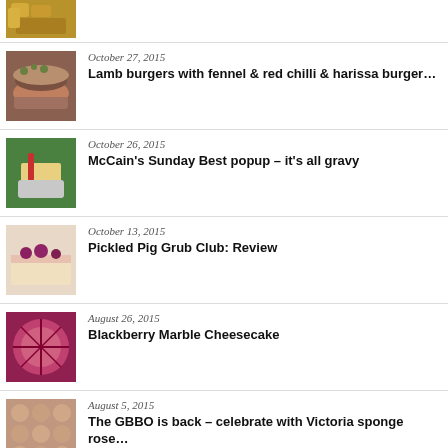[Figure (photo): Partial thumbnail of a food dish (top of page, cropped)]
October 27, 2015
Lamb burgers with fennel & red chilli & harissa burger...
October 26, 2015
McCain's Sunday Best popup – it's all gravy
October 13, 2015
Pickled Pig Grub Club: Review
August 26, 2015
Blackberry Marble Cheesecake
August 5, 2015
The GBBO is back – celebrate with Victoria sponge rose...